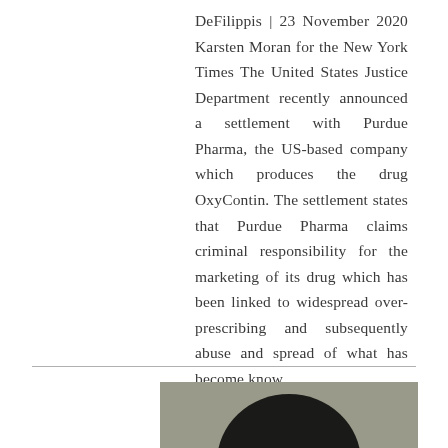DeFilippis | 23 November 2020 Karsten Moran for the New York Times The United States Justice Department recently announced a settlement with Purdue Pharma, the US-based company which produces the drug OxyContin. The settlement states that Purdue Pharma claims criminal responsibility for the marketing of its drug which has been linked to widespread over-prescribing and subsequently abuse and spread of what has become know
[Figure (photo): Black and white photograph showing a person, cropped to show the top of a dark-haired head against a dark background]